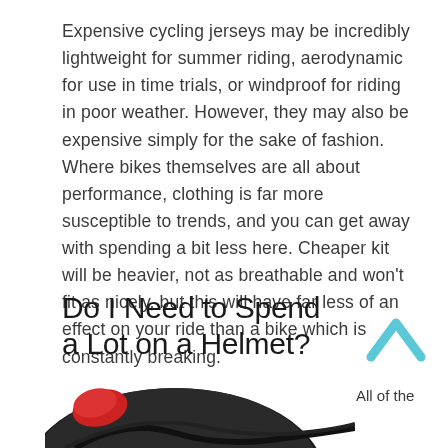Expensive cycling jerseys may be incredibly lightweight for summer riding, aerodynamic for use in time trials, or windproof for riding in poor weather. However, they may also be expensive simply for the sake of fashion. Where bikes themselves are all about performance, clothing is far more susceptible to trends, and you can get away with spending a bit less here. Cheaper kit will be heavier, not as breathable and won't fit as nicely, but this will have far less of an effect on your ride than a bike which is constantly breaking.
Do I Need to Spend a Lot on a Helmet?
[Figure (illustration): A cyan/light blue upward-pointing chevron arrow icon in the right margin]
All of the
[Figure (photo): Partial image of a cycling helmet, showing black and red curved straps/body of the helmet from below]